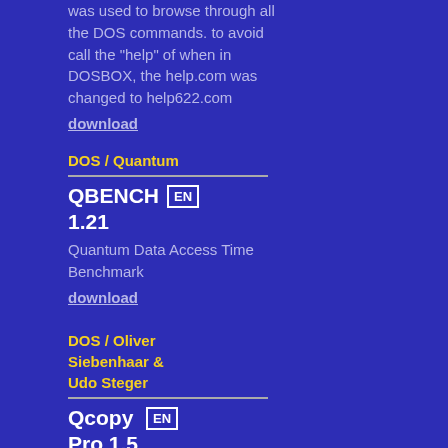was used to browse through all the DOS commands. to avoid call the "help" of when in DOSBOX, the help.com was changed to help622.com
download
DOS / Quantum
QBENCH 1.21
Quantum Data Access Time Benchmark
download
DOS / Oliver Siebenhaar & Udo Steger
Qcopy Pro 1.5
1.5
Great tool for copy files. imgs